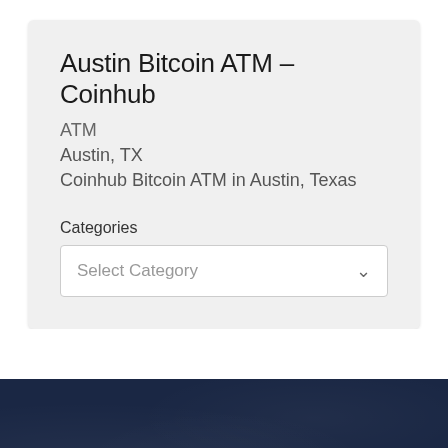Austin Bitcoin ATM – Coinhub
ATM
Austin, TX
Coinhub Bitcoin ATM in Austin, Texas
Categories
Select Category
Business Listings